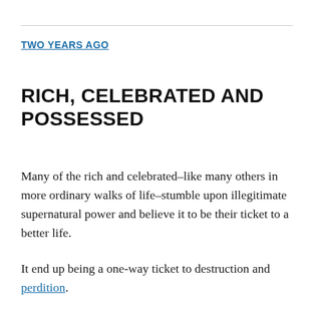TWO YEARS AGO
RICH, CELEBRATED AND POSSESSED
Many of the rich and celebrated–like many others in more ordinary walks of life–stumble upon illegitimate supernatural power and believe it to be their ticket to a better life.
It end up being a one-way ticket to destruction and perdition.